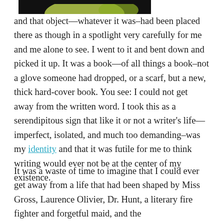[Figure (photo): Partial photo visible at top of page, dark background with partial light-colored object]
and that object—whatever it was–had been placed there as though in a spotlight very carefully for me and me alone to see. I went to it and bent down and picked it up. It was a book—of all things a book–not a glove someone had dropped, or a scarf, but a new, thick hard-cover book. You see: I could not get away from the written word. I took this as a serendipitous sign that like it or not a writer's life—imperfect, isolated, and much too demanding–was my identity and that it was futile for me to think writing would ever not be at the center of my existence.
It was a waste of time to imagine that I could ever get away from a life that had been shaped by Miss Gross, Laurence Olivier, Dr. Hunt, a literary fire fighter and forgetful maid, and the